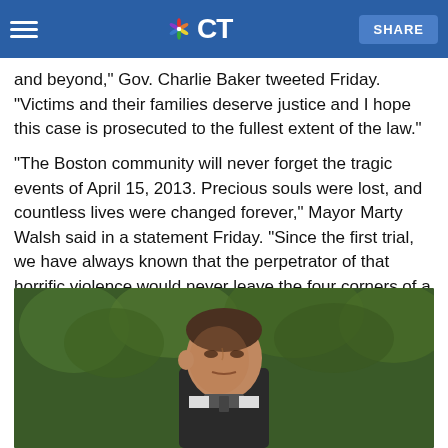NBC CT
"The Boston Marathon bombing was an act of terrorism that devastated families and communities across the Commonwealth and beyond," Gov. Charlie Baker tweeted Friday. "Victims and their families deserve justice and I hope this case is prosecuted to the fullest extent of the law."
"The Boston community will never forget the tragic events of April 15, 2013. Precious souls were lost, and countless lives were changed forever," Mayor Marty Walsh said in a statement Friday. "Since the first trial, we have always known that the perpetrator of that horrific violence would never leave the four corners of a prison cell."
[Figure (photo): A man outdoors with trees in the background, photographed from the shoulders up. The image appears to be a news video thumbnail.]